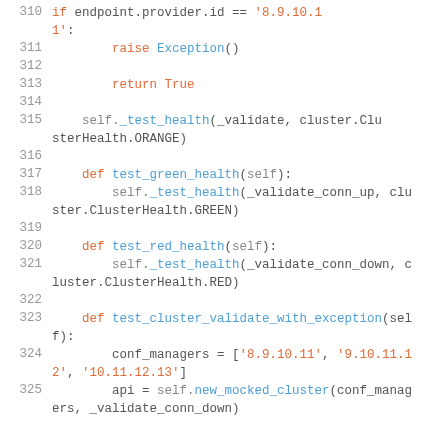[Figure (screenshot): Python source code snippet showing lines 310-325, with syntax highlighting. Lines include if/raise/return statements, method definitions for test_green_health, test_red_health, test_cluster_validate_with_exception, and variable assignments with string lists.]